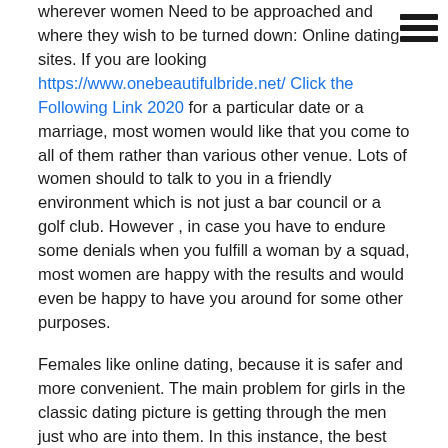wherever women Need to be approached and where they wish to be turned down: Online dating sites. If you are looking https://www.onebeautifulbride.net/ Click the Following Link 2020 for a particular date or a marriage, most women would like that you come to all of them rather than various other venue. Lots of women should to talk to you in a friendly environment which is not just a bar council or a golf club. However , in case you have to endure some denials when you fulfill a woman by a squad, most women are happy with the results and would even be happy to have you around for some other purposes.
Females like online dating, because it is safer and more convenient. The main problem for girls in the classic dating picture is getting through the men just who are into them. In this instance, the best visitors to approach happen to be women via the internet.